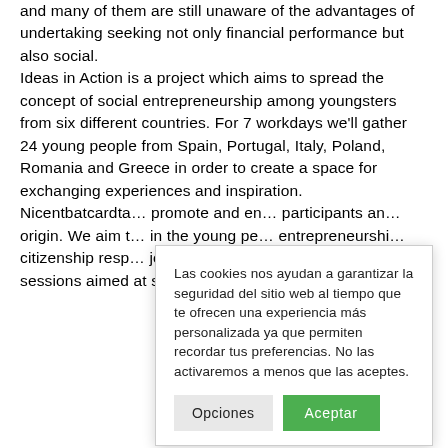and many of them are still unaware of the advantages of undertaking seeking not only financial performance but also social. Ideas in Action is a project which aims to spread the concept of social entrepreneurship among youngsters from six different countries. For 7 workdays we'll gather 24 young people from Spain, Portugal, Italy, Poland, Romania and Greece in order to create a space for exchanging experiences and inspiration. Nicentbatcardta… promote and en… participants an… origin. We aim t… in the young pe… entrepreneurshi… citizenship resp… job creation Wit… presentations, f… sessions aimed at sharing ideas and translate them
Las cookies nos ayudan a garantizar la seguridad del sitio web al tiempo que te ofrecen una experiencia más personalizada ya que permiten recordar tus preferencias. No las activaremos a menos que las aceptes.